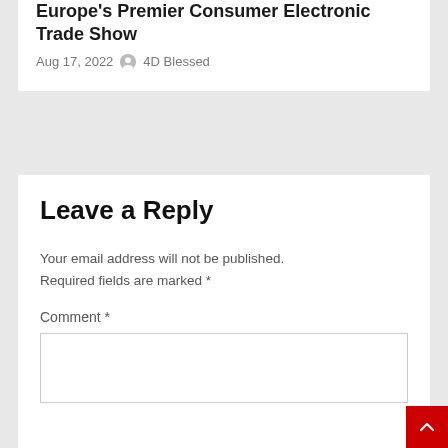Europe's Premier Consumer Electronic Trade Show
Aug 17, 2022  4D Blessed
Leave a Reply
Your email address will not be published. Required fields are marked *
Comment *